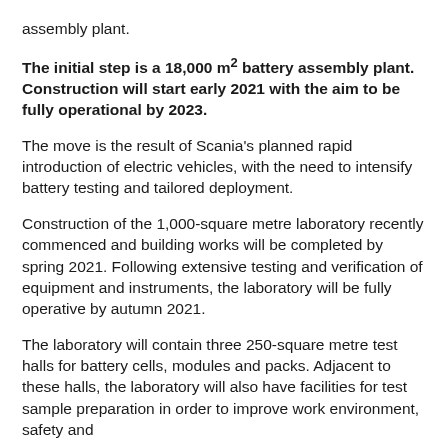assembly plant.
The initial step is a 18,000 m2 battery assembly plant. Construction will start early 2021 with the aim to be fully operational by 2023.
The move is the result of Scania's planned rapid introduction of electric vehicles, with the need to intensify battery testing and tailored deployment.
Construction of the 1,000-square metre laboratory recently commenced and building works will be completed by spring 2021. Following extensive testing and verification of equipment and instruments, the laboratory will be fully operative by autumn 2021.
The laboratory will contain three 250-square metre test halls for battery cells, modules and packs. Adjacent to these halls, the laboratory will also have facilities for test sample preparation in order to improve work environment, safety and